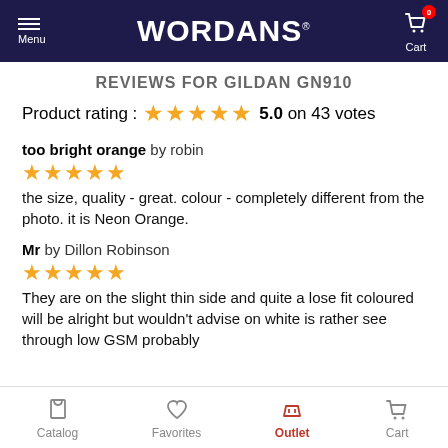WORDANS - Menu / Cart
REVIEWS FOR GILDAN GN910
Product rating : 5.0 on 43 votes
too bright orange by robin
the size, quality - great. colour - completely different from the photo. it is Neon Orange.
Mr by Dillon Robinson
They are on the slight thin side and quite a lose fit coloured will be alright but wouldn't advise on white is rather see through low GSM probably
Catalog  Favorites  Outlet  Cart